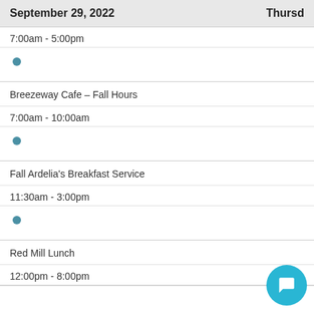September 29, 2022   Thursd
7:00am - 5:00pm
Breezeway Cafe – Fall Hours
7:00am - 10:00am
Fall Ardelia's Breakfast Service
11:30am - 3:00pm
Red Mill Lunch
12:00pm - 8:00pm